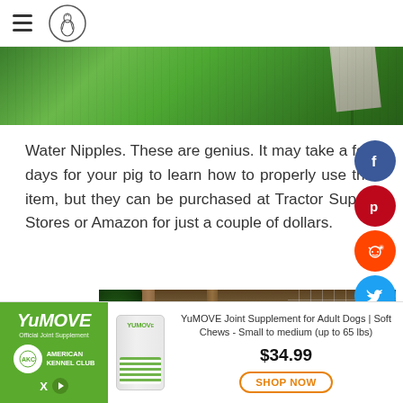navigation bar with hamburger menu and logo
[Figure (photo): Grass/outdoor scene with green foliage and a light-colored triangular object]
Water Nipples. These are genius. It may take a few days for your pig to learn how to properly use this item, but they can be purchased at Tractor Supply Stores or Amazon for just a couple of dollars.
[Figure (photo): Outdoor pig enclosure with dark green barrel, wire fencing, and dirt ground]
[Figure (infographic): YuMOVE advertisement banner: YuMOVE Joint Supplement for Adult Dogs | Soft Chews - Small to medium (up to 65 lbs), $34.99, SHOP NOW button]